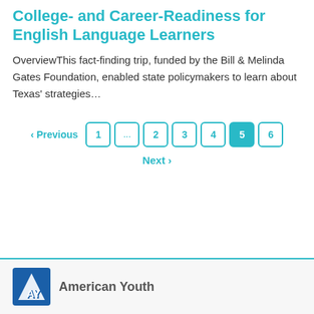College- and Career-Readiness for English Language Learners
OverviewThis fact-finding trip, funded by the Bill & Melinda Gates Foundation, enabled state policymakers to learn about Texas' strategies…
[Figure (other): Pagination control showing Previous, page buttons 1, ..., 2, 3, 4, 5 (active), 6, and Next]
American Youth